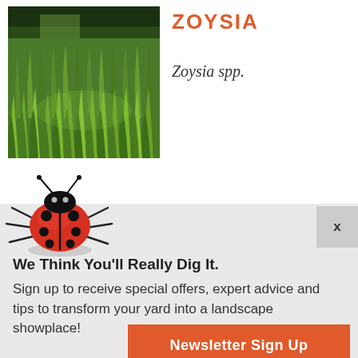[Figure (photo): Close-up photo of lush green zoysia grass blades viewed from ground level]
ZOYSIA
Zoysia spp.
[Figure (illustration): Ladybug illustration with red wings and black spots, viewed from above]
x
We Think You'll Really Dig It.
Sign up to receive special offers, expert advice and tips to transform your yard into a landscape showplace!
Newsletter Sign Up